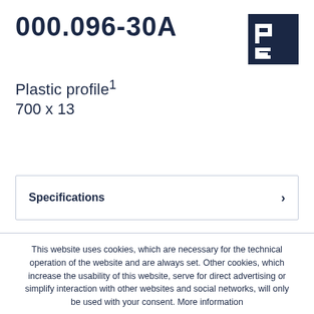000.096-30A
[Figure (logo): PE logo — dark navy square with stylized 'PE' letters in white]
Plastic profile¹
700 x 13
Specifications
This website uses cookies, which are necessary for the technical operation of the website and are always set. Other cookies, which increase the usability of this website, serve for direct advertising or simplify interaction with other websites and social networks, will only be used with your consent. More information
Decline | Accept all | Configure